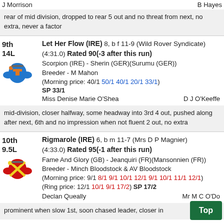J Morrison   B Hayes
rear of mid division, dropped to rear 5 out and no threat from next, no extra, never a factor
9th 14L Let Her Flow (IRE) 8, b f 11-9 (Wild Rover Syndicate) (4:31.0) Rated 90(-3 after this run) Scorpion (IRE) - Sherin (GER)(Surumu (GER)) Breeder - M Mahon (Morning price: 40/1 50/1 40/1 20/1 33/1) SP 33/1
Miss Denise Marie O'Shea   D J O'Keeffe
mid-division, closer halfway, some headway into 3rd 4 out, pushed along after next, 6th and no impression when not fluent 2 out, no extra
10th 9.5L Rigmarole (IRE) 6, b m 11-7 (Mrs D P Magnier) (4:33.0) Rated 95(-1 after this run) Fame And Glory (GB) - Jeanquiri (FR)(Mansonnien (FR)) Breeder - Minch Bloodstock & AV Bloodstock (Morning price: 9/1 8/1 9/1 10/1 12/1 9/1 10/1 11/1 12/1) (Ring price: 12/1 10/1 9/1 17/2) SP 17/2
Declan Queally   Mr M C O'D...
prominent when slow 1st, soon chased leader, closer in